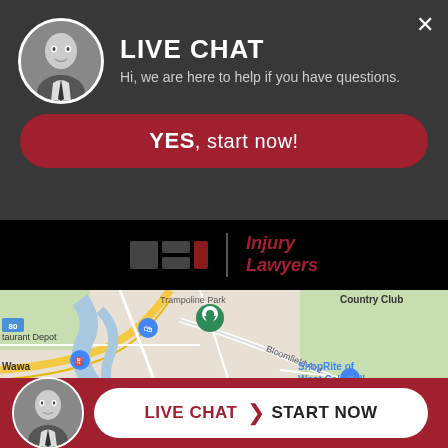LIVE CHAT
Hi, we are here to help if you have questions.
YES, start now!
[Figure (logo): Injury Lawyers logo with dark and red squares and italic red text]
[Figure (map): Google Maps view showing West Caldwell area with locations including Trampoline Park, Country Club, Restaurant Depot, Wawa, ShopRite of West Caldwell, Bloomfield Ave, Oak Rd, Westville Ave, Route 633, Lurk, Grove Cleveland]
LIVE CHAT  START NOW